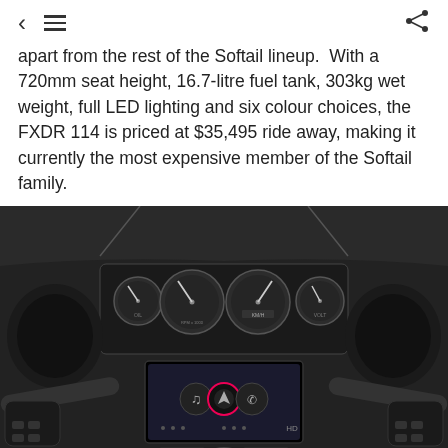< ≡  [share icon]
apart from the rest of the Softail lineup.  With a 720mm seat height, 16.7-litre fuel tank, 303kg wet weight, full LED lighting and six colour choices, the FXDR 114 is priced at $35,495 ride away, making it currently the most expensive member of the Softail family.
[Figure (photo): Close-up front view of a Harley-Davidson motorcycle dashboard showing multiple analog gauges (speedometer, tachometer, and two smaller gauges), a touchscreen infotainment display with navigation/music/phone icons, handlebars with controls on both sides, and a circular headlight at the bottom. The image is in black and white/grey tones.]